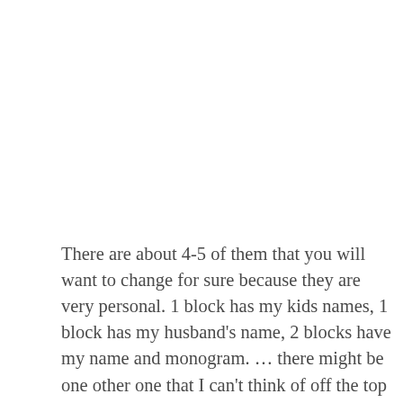There are about 4-5 of them that you will want to change for sure because they are very personal. 1 block has my kids names, 1 block has my husband's name, 2 blocks have my name and monogram. … there might be one other one that I can't think of off the top of my head. But I am including them in the stack because they will be place holders for you to include what you want in there. They will be ideas for